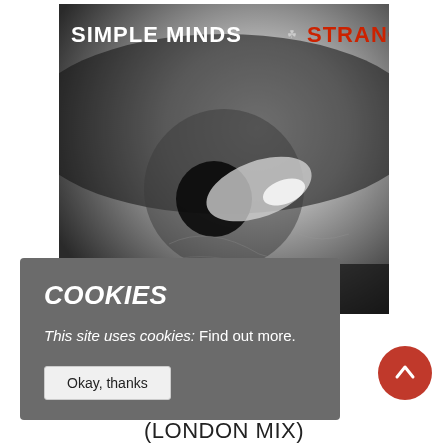[Figure (photo): Album cover for Simple Minds 'Stranger' — black and white extreme close-up of a human eye with text 'SIMPLE MINDS' in white on upper left and a small icon with 'STRANGER' in red on upper right]
COOKIES
This site uses cookies: Find out more.
Okay, thanks
[Figure (other): Round red button with white upward arrow (scroll-to-top button)]
(LONDON MIX)